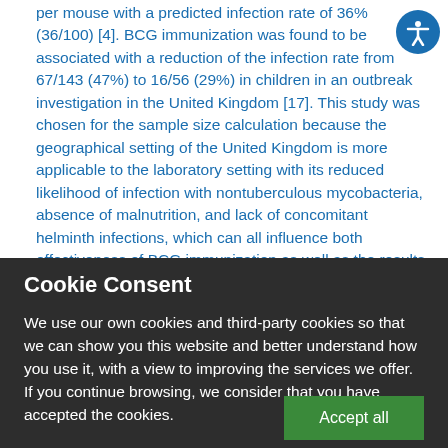per mouse with a predicted infection rate of 36% (36/100) [4]. BCG immunization was found to be associated with a reduction of the infection rate from 67/143 (47%) to 16/56 (29%) in children in an outbreak investigation in the United Kingdom [17]. This study was chosen for the sample size calculation because the geographical setting of the United Kingdom is more applicable to the laboratory setting with its reduced likelihood of infection with nontuberculous mycobacteria, absence of malnutrition, and lack of concomitant helminth infections, which can all influence both effectiveness of BCG immunization as well as the results of IFN gamma release assays by induction of bias away from a Th-1 response essential
Cookie Consent
We use our own cookies and third-party cookies so that we can show you this website and better understand how you use it, with a view to improving the services we offer. If you continue browsing, we consider that you have accepted the cookies.